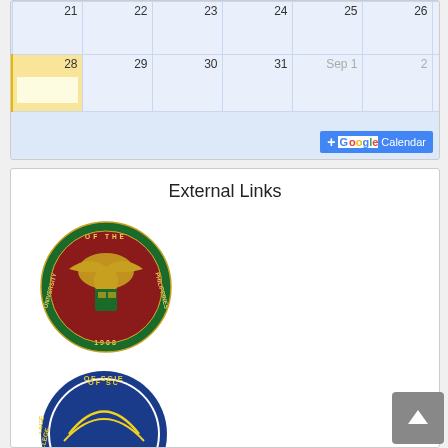[Figure (screenshot): Google Calendar partial view showing dates 21-27 (first row) and 28-Sep 3 (second row), with day 28 highlighted in yellow as today. Google Calendar button at bottom right.]
External Links
[Figure (logo): University of the Philippines seal - circular green border with eagle, shield, and '1908']
[Figure (logo): College of Science seal - partial view, circular blue border with yellow lettering]